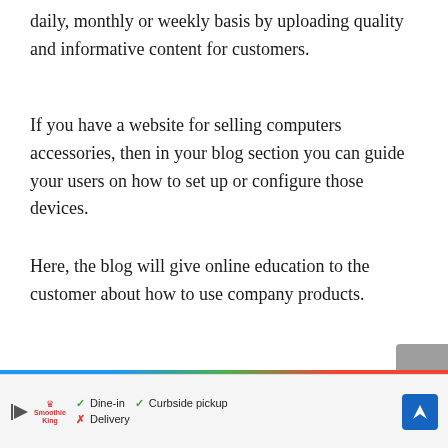daily, monthly or weekly basis by uploading quality and informative content for customers.
If you have a website for selling computers accessories, then in your blog section you can guide your users on how to set up or configure those devices.
Here, the blog will give online education to the customer about how to use company products.
[Figure (other): Advertisement banner for a restaurant showing Smoothie King logo with play button, dine-in, curbside pickup and delivery options, and a blue navigation arrow icon]